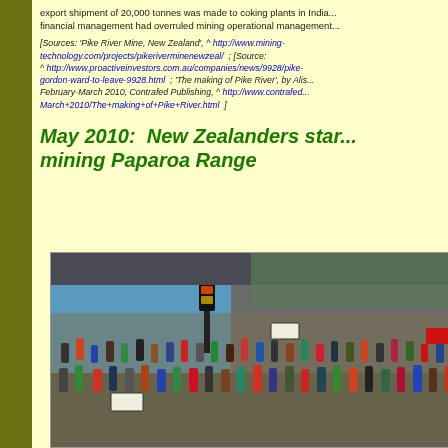export shipment of 20,000 tonnes was made to coking plants in India... financial management had overruled mining operational management...
[Sources: 'Pike River Mine, New Zealand', ^ http://www.mining-technology.com/projects/pikeriverminenewzeal/ ; [Source: ^ http://www.proactiveinvestors.com.au/companies/news/9928/pike-... gordon-ward-to-leave-9928.html ; 'The making of Pike River', by Alis... February-March 2010, Contrafed Publishing, ^ http://www.contrafed... March+2010/The+making+of+Pike+River.html ]
May 2010:  New Zealanders star... mining Paparoa Range
[Figure (photo): Large crowd of protesters marching in a street, holding signs and banners, photographed from above. Urban setting with buildings visible.]